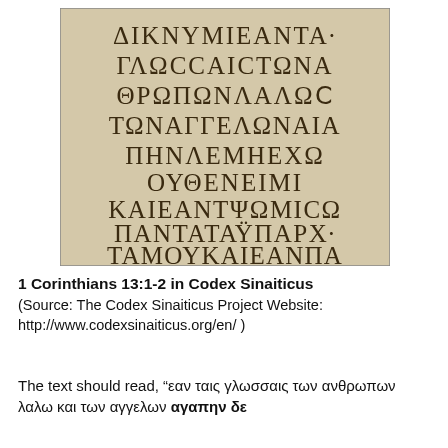[Figure (photo): Photograph of a page from Codex Sinaiticus showing ancient Greek uncial script text in brown ink on parchment. The text reads multiple lines of Greek capital letters.]
1 Corinthians 13:1-2 in Codex Sinaiticus
(Source: The Codex Sinaiticus Project Website: http://www.codexsinaiticus.org/en/ )
The text should read, “eαν ταις γλωσσαις των ανθρωπων λαλω και των αγγελων αγαπην δε